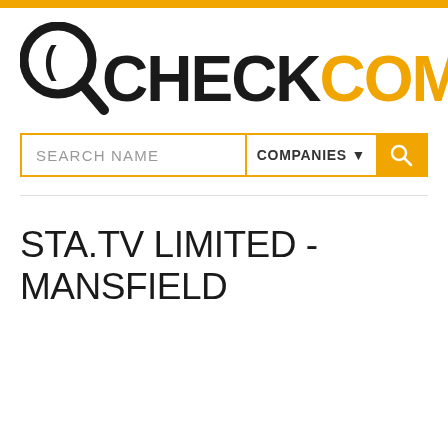[Figure (logo): CheckCompany logo with magnifying glass icon, CHECK in black bold text, COMPANY in orange bold text]
[Figure (screenshot): Search bar with SEARCH NAME placeholder text, COMPANIES dropdown selector, and orange search button]
STA.TV LIMITED - MANSFIELD